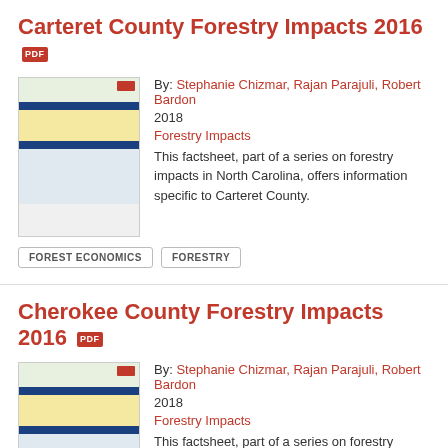Carteret County Forestry Impacts 2016
By: Stephanie Chizmar, Rajan Parajuli, Robert Bardon
2018
Forestry Impacts
This factsheet, part of a series on forestry impacts in North Carolina, offers information specific to Carteret County.
FOREST ECONOMICS
FORESTRY
Cherokee County Forestry Impacts 2016
By: Stephanie Chizmar, Rajan Parajuli, Robert Bardon
2018
Forestry Impacts
This factsheet, part of a series on forestry impacts in North Carolina, offers information specific to